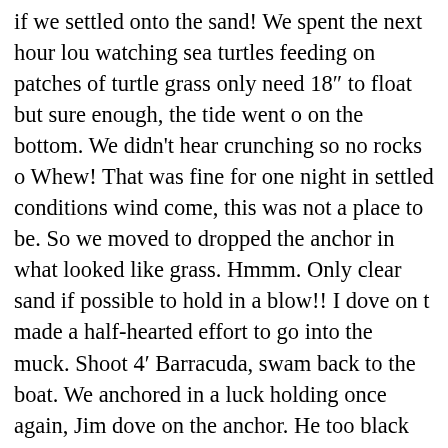if we settled onto the sand! We spent the next hour lou watching sea turtles feeding on patches of turtle grass only need 18″ to float but sure enough, the tide went o on the bottom. We didn't hear crunching so no rocks o Whew! That was fine for one night in settled conditions wind come, this was not a place to be. So we moved to dropped the anchor in what looked like grass. Hmmm. Only clear sand if possible to hold in a blow!! I dove on t made a half-hearted effort to go into the muck. Shoot 4′ Barracuda, swam back to the boat. We anchored in a luck holding once again, Jim dove on the anchor. He too black tip reef Shark! Not sure who was more scared. Bu sharks were around, there was a good chance that ham think that was helpful. We pulled over to the last patch between Hoffman's, White Cay, Saddleback Cay etc. Th four other boats bobbed and tossed as our shelter fro way to Stormy 25+ knots funneling through a pass righ night for rest but man did that anchor hold! The next d enough to see into the water, we moved up the coas